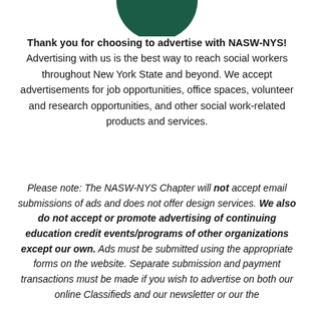[Figure (logo): NASW-NYS circular logo, dark green, partial circle shape at top of page]
Thank you for choosing to advertise with NASW-NYS! Advertising with us is the best way to reach social workers throughout New York State and beyond. We accept advertisements for job opportunities, office spaces, volunteer and research opportunities, and other social work-related products and services.
Please note: The NASW-NYS Chapter will not accept email submissions of ads and does not offer design services. We also do not accept or promote advertising of continuing education credit events/programs of other organizations except our own. Ads must be submitted using the appropriate forms on the website. Separate submission and payment transactions must be made if you wish to advertise on both our online Classifieds and our newsletter or our the